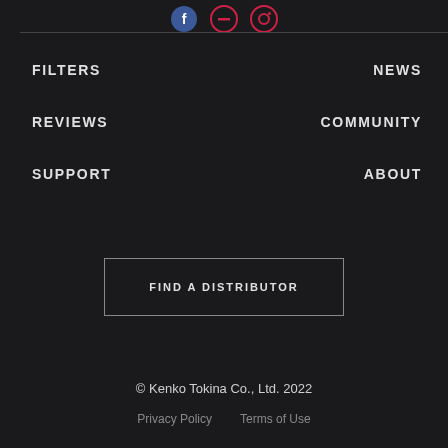[Figure (illustration): Social media icons: Facebook, YouTube/minus, Instagram at top of footer]
FILTERS
NEWS
REVIEWS
COMMUNITY
SUPPORT
ABOUT
FIND A DISTRIBUTOR
© Kenko Tokina Co., Ltd. 2022
Privacy Policy   Terms of Use